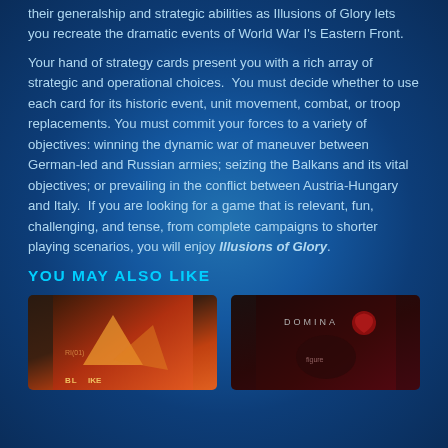their generalship and strategic abilities as Illusions of Glory lets you recreate the dramatic events of World War I's Eastern Front.
Your hand of strategy cards present you with a rich array of strategic and operational choices. You must decide whether to use each card for its historic event, unit movement, combat, or troop replacements. You must commit your forces to a variety of objectives: winning the dynamic war of maneuver between German-led and Russian armies; seizing the Balkans and its vital objectives; or prevailing in the conflict between Austria-Hungary and Italy. If you are looking for a game that is relevant, fun, challenging, and tense, from complete campaigns to shorter playing scenarios, you will enjoy Illusions of Glory.
YOU MAY ALSO LIKE
[Figure (photo): Thumbnail card image for a game with orange and red cover art]
[Figure (photo): Thumbnail card image for Domina game with dark red cover art]